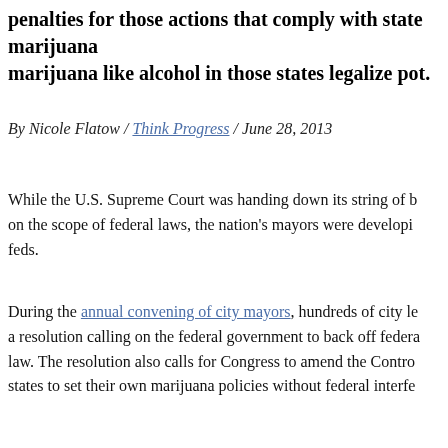penalties for those actions that comply with state marijuana marijuana like alcohol in those states legalize pot.
By Nicole Flatow / Think Progress / June 28, 2013
While the U.S. Supreme Court was handing down its string of b on the scope of federal laws, the nation's mayors were developi feds.
During the annual convening of city mayors, hundreds of city le a resolution calling on the federal government to back off federa law. The resolution also calls for Congress to amend the Contro states to set their own marijuana policies without federal interfe
The resolution notes both past crackdowns on marijuana in state laws, and the potential for future, expanded crackdowns once C implement their measures to legalize and regulate recreational m
“The bipartisan resolution we passed today simply asks the fed